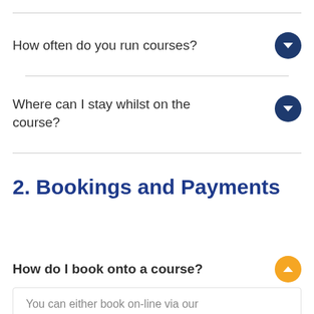How often do you run courses?
Where can I stay whilst on the course?
2. Bookings and Payments
How do I book onto a course?
You can either book on-line via our